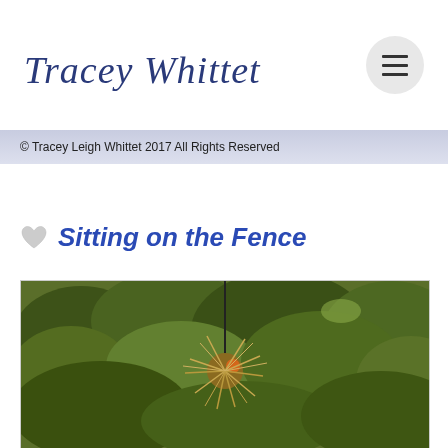Tracey Whittet
© Tracey Leigh Whittet 2017 All Rights Reserved
Sitting on the Fence
[Figure (photo): Outdoor nature photo showing dense green foliage/bushes with a spiky tumbleweed or nest-like object hanging in the center, partially cropped at the bottom of the page.]